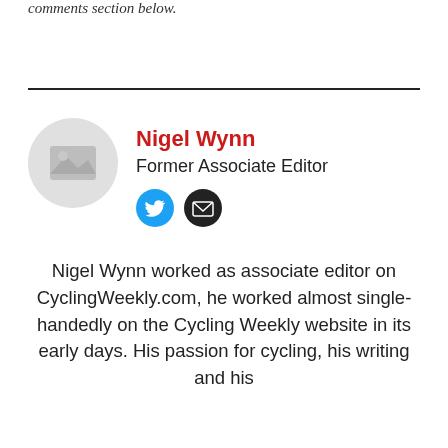comments section below.
Nigel Wynn
Former Associate Editor
Nigel Wynn worked as associate editor on CyclingWeekly.com, he worked almost single-handedly on the Cycling Weekly website in its early days. His passion for cycling, his writing and his